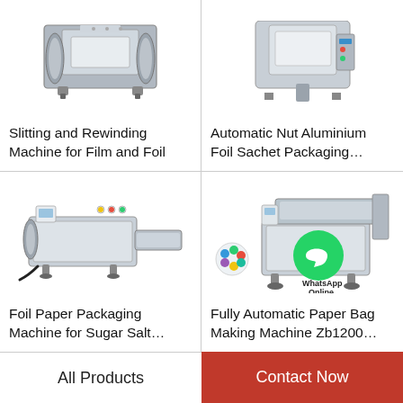[Figure (photo): Slitting and Rewinding Machine for Film and Foil - industrial machine photo (top cropped)]
Slitting and Rewinding Machine for Film and Foil
[Figure (photo): Automatic Nut Aluminium Foil Sachet Packaging machine - product image (top cropped)]
Automatic Nut Aluminium Foil Sachet Packaging…
[Figure (photo): Foil Paper Packaging Machine for Sugar Salt - horizontal flow wrap machine photo]
Foil Paper Packaging Machine for Sugar Salt…
[Figure (photo): Fully Automatic Paper Bag Making Machine Zb1200 with WhatsApp Online badge overlay]
Fully Automatic Paper Bag Making Machine Zb1200…
All Products
Contact Now